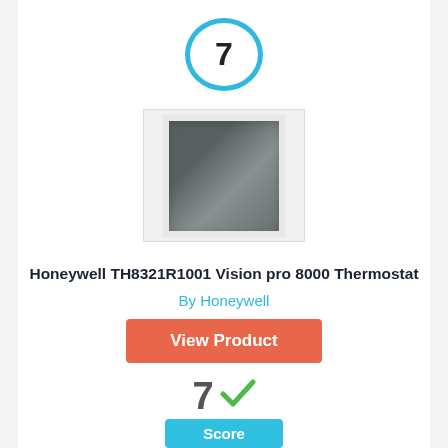[Figure (other): Circular badge with number 7, cyan/light blue border]
[Figure (photo): Honeywell thermostat product photo — white rectangular device with dark display screen]
Honeywell TH8321R1001 Vision pro 8000 Thermostat
By Honeywell
View Product
[Figure (other): Score display: number 7 with green checkmark, and cyan Score label button below]